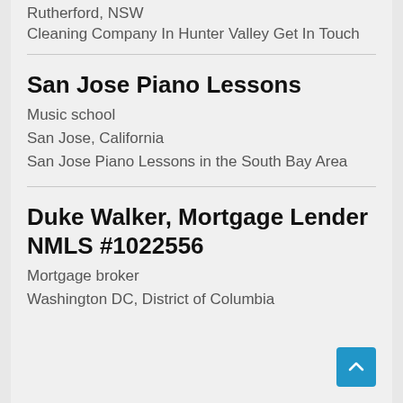Rutherford, NSW
Cleaning Company In Hunter Valley Get In Touch
San Jose Piano Lessons
Music school
San Jose, California
San Jose Piano Lessons in the South Bay Area
Duke Walker, Mortgage Lender NMLS #1022556
Mortgage broker
Washington DC, District of Columbia